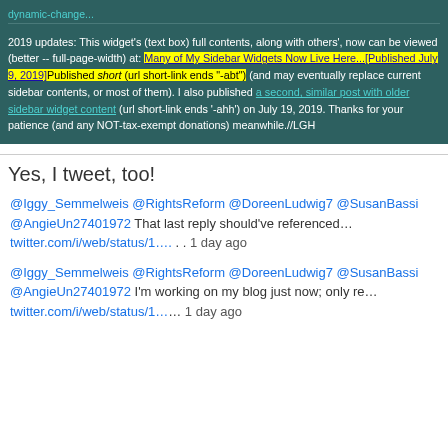2019 updates: This widget's (text box) full contents, along with others', now can be viewed (better -- full-page-width) at: Many of My Sidebar Widgets Now Live Here...[Published July 9, 2019] Published short (url short-link ends "-abt") (and may eventually replace current sidebar contents, or most of them). I also published a second, similar post with older sidebar widget content (url short-link ends '-ahh') on July 19, 2019. Thanks for your patience (and any NOT-tax-exempt donations) meanwhile.//LGH
Yes, I tweet, too!
@Iggy_Semmelweis @RightsReform @DoreenLudwig7 @SusanBassi @AngieUn27401972 That last reply should've referenced… twitter.com/i/web/status/1…. . . 1 day ago
@Iggy_Semmelweis @RightsReform @DoreenLudwig7 @SusanBassi @AngieUn27401972 I'm working on my blog just now; only re… twitter.com/i/web/status/1…… 1 day ago